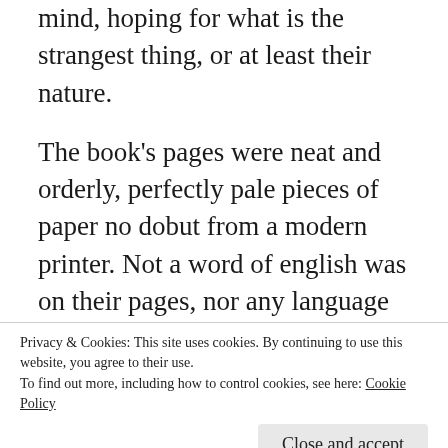mind, hoping for what is the strangest thing, or at least their nature.
The book's pages were neat and orderly, perfectly pale pieces of paper no dobut from a modern printer. Not a word of english was on their pages, nor any language that Lucas knew. Flicking through the pages, he saw writing that sprialed, that ran both left to right and right to left. Sometimes it seemed upside down, other times a rainbow of colors crossed the pages. As he skimmed, he heard the pitter patter of what he thought was rain, dismissing it as the new mystery pulled him closer. For at last he
Privacy & Cookies: This site uses cookies. By continuing to use this website, you agree to their use.
To find out more, including how to control cookies, see here: Cookie Policy
Close and accept
engraved in the book, with a silhouette and notes